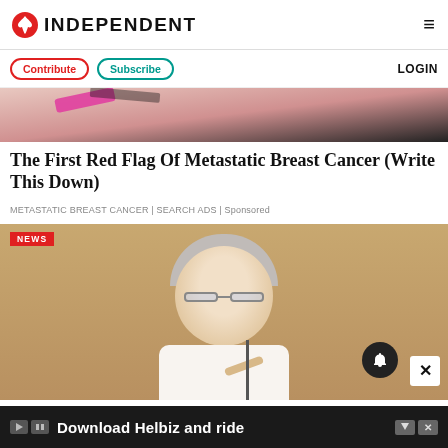INDEPENDENT
Contribute | Subscribe | LOGIN
[Figure (photo): Cropped photo of a person's torso with a pink/magenta bra strap visible]
The First Red Flag Of Metastatic Breast Cancer (Write This Down)
METASTATIC BREAST CANCER | SEARCH ADS | Sponsored
[Figure (photo): Photo of a grey-haired man wearing rimless glasses, pointing finger, with NEWS badge overlay]
Download Helbiz and ride